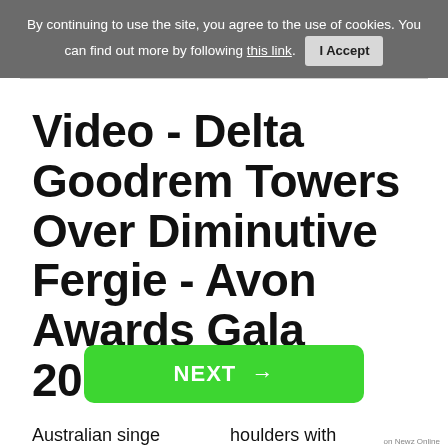By continuing to use the site, you agree to the use of cookies. You can find out more by following this link. I Accept
Video - Delta Goodrem Towers Over Diminutive Fergie - Avon Awards Gala 2011 Part 2
Australian singe... houlders with